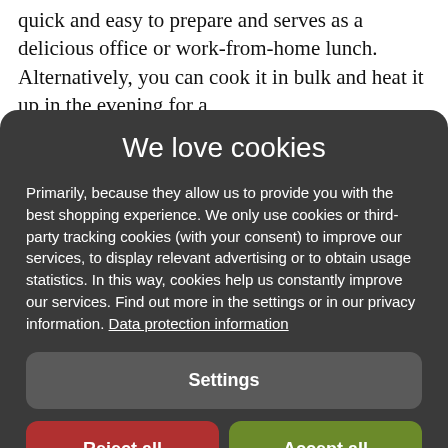quick and easy to prepare and serves as a delicious office or work-from-home lunch. Alternatively, you can cook it in bulk and heat it up in the evening for a
We love cookies
Primarily, because they allow us to provide you with the best shopping experience. We only use cookies or third-party tracking cookies (with your consent) to improve our services, to display relevant advertising or to obtain usage statistics. In this way, cookies help us constantly improve our services. Find out more in the settings or in our privacy information. Data protection information
Settings
Reject all
Accept all